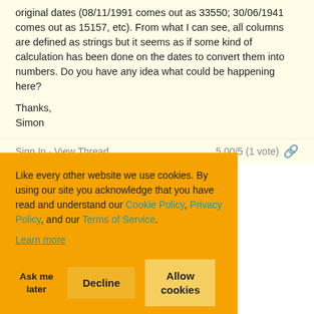original dates (08/11/1991 comes out as 33550; 30/06/1941 comes out as 15157, etc). From what I can see, all columns are defined as strings but it seems as if some kind of calculation has been done on the dates to convert them into numbers. Do you have any idea what could be happening here?
Thanks,
Simon
Sign In · View Thread   5.00/5 (1 vote) 🔗
Like every other website we use cookies. By using our site you acknowledge that you have read and understand our Cookie Policy, Privacy Policy, and our Terms of Service.
Learn more
Ask me later   Decline   Allow cookies